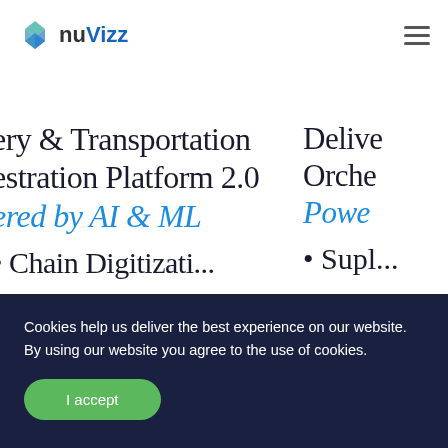nuVizz
ery & Transportation Orchestration Platform 2.0 Powered by AI & ML
Cookies help us deliver the best experience on our website. By using our website you agree to the use of cookies.
I accept